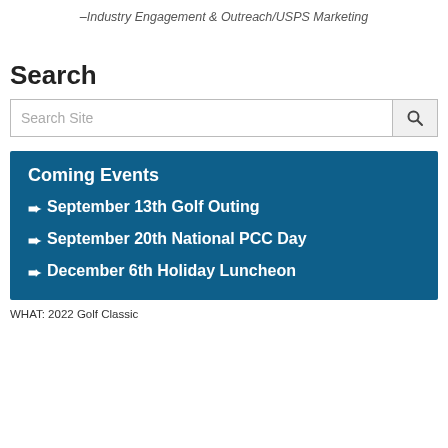–Industry Engagement & Outreach/USPS Marketing
Search
[Figure (screenshot): Search site input box with magnifying glass icon button]
Coming Events
➨ September 13th Golf Outing
➨ September 20th National PCC Day
➨ December 6th Holiday Luncheon
WHAT: 2022 Golf Classic